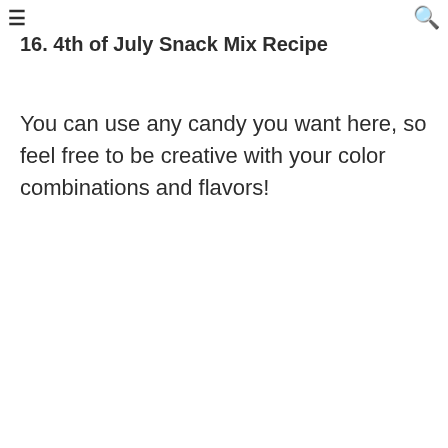≡  🔍
16. 4th of July Snack Mix Recipe
You can use any candy you want here, so feel free to be creative with your color combinations and flavors!